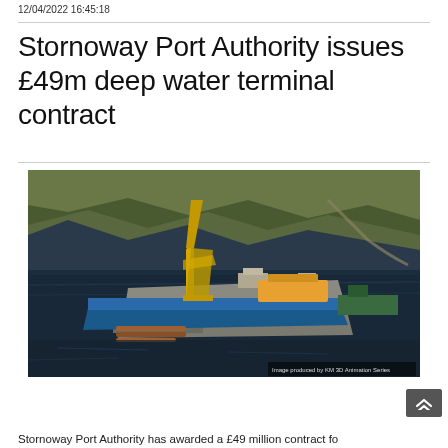12/04/2022 16:45:18
Stornoway Port Authority issues £49m deep water terminal contract
[Figure (photo): Aerial photograph of Stornoway port with a large blue heavy-lift vessel docked at a quay, with yellow crane equipment visible, industrial buildings and equipment on the quayside, and rugged Scottish highland terrain in the background. Image credit: Image produced by KM 3D Animation Series]
Stornoway Port Authority has awarded a £49 million contract fo